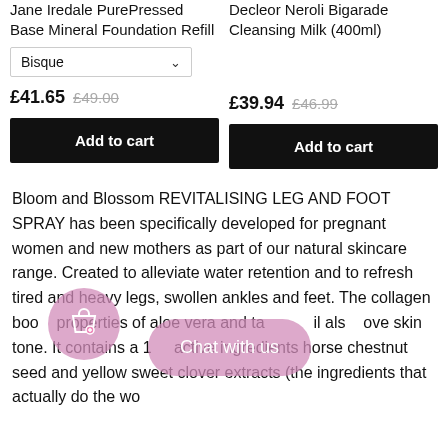Jane Iredale PurePressed Base Mineral Foundation Refill
Bisque
£41.65  £49.00
Add to cart
Decleor Neroli Bigarade Cleansing Milk (400ml)
£39.94  £46.99
Add to cart
Bloom and Blossom REVITALISING LEG AND FOOT SPRAY has been specifically developed for pregnant women and new mothers as part of our natural skincare range. Created to alleviate water retention and to refresh tired and heavy legs, swollen ankles and feet. The collagen boosting properties of aloe vera and tamanu oil also improve skin tone. It contains a 1% blend of active ingredients horse chestnut seed and yellow sweet clover extracts (the ingredients that actually do the wo…